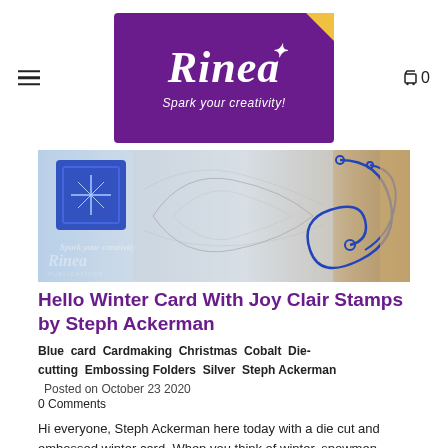[Figure (logo): Rinea logo — purple rectangle with white italic serif text 'Rinea', a star sparkle above the R, tagline 'Spark your creativity!' in white italic, and a yellow folded corner at top right.]
[Figure (photo): Close-up photo of a winter greeting card with blue decorative die-cut elements and silver embossed details on a white background, with Rinea watermark overlay.]
Hello Winter Card With Joy Clair Stamps by Steph Ackerman
Blue  card  Cardmaking  Christmas  Cobalt  Die-cutting  Embossing Folders  Silver  Steph Ackerman
Posted on October 23 2020
0 Comments
Hi everyone, Steph Ackerman here today with a die cut and embossed winter card. When you think of winter, snowmen